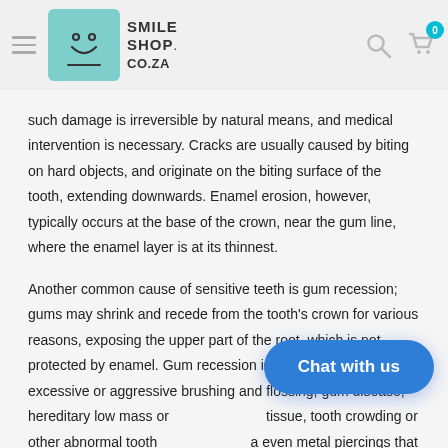[Figure (logo): Smile Shop CO.ZA logo with teal square and smiley face icon, hamburger menu, search and cart icons in header]
such damage is irreversible by natural means, and medical intervention is necessary. Cracks are usually caused by biting on hard objects, and originate on the biting surface of the tooth, extending downwards. Enamel erosion, however, typically occurs at the base of the crown, near the gum line, where the enamel layer is at its thinnest.
Another common cause of sensitive teeth is gum recession; gums may shrink and recede from the tooth's crown for various reasons, exposing the upper part of the root, which is not protected by enamel. Gum recession is usually caused by excessive or aggressive brushing and flossing, gum disease, hereditary low mass or tissue, tooth crowding or other abnormal tooth even metal piercings that rub against the gums.